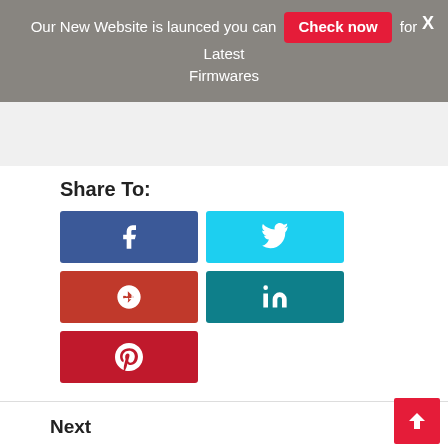Our New Website is launced you can Check now for Latest Firmwares
Share To:
[Figure (infographic): Social media share buttons: Facebook (blue), Twitter (cyan), Google+ (red), LinkedIn (teal), Pinterest (dark red)]
Next
« Tecno F1 Signed Firmware Flash File | Stockrom Free Download No Password
Previous
Tecno B1f Pop 2 F Signed Firmware Flash File | Stockrom Free Download No Password »